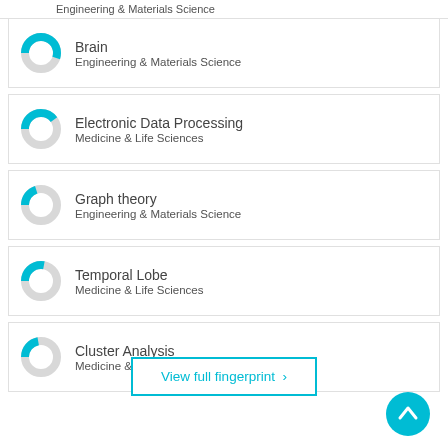Engineering & Materials Science
[Figure (donut-chart): Donut chart for Brain, Engineering & Materials Science]
Brain
Engineering & Materials Science
[Figure (donut-chart): Donut chart for Electronic Data Processing, Medicine & Life Sciences]
Electronic Data Processing
Medicine & Life Sciences
[Figure (donut-chart): Donut chart for Graph theory, Engineering & Materials Science]
Graph theory
Engineering & Materials Science
[Figure (donut-chart): Donut chart for Temporal Lobe, Medicine & Life Sciences]
Temporal Lobe
Medicine & Life Sciences
[Figure (donut-chart): Donut chart for Cluster Analysis, Medicine & Life Sciences]
Cluster Analysis
Medicine & Life Sciences
View full fingerprint ›